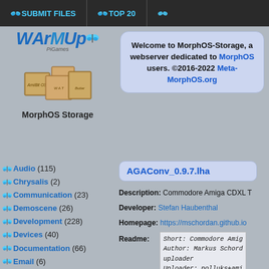SUBMIT FILES | TOP 20
[Figure (logo): WArMUp MorphOS Storage logo with butterfly and stacked boxes]
Welcome to MorphOS-Storage, a webserver dedicated to MorphOS users. ©2016-2022 Meta-MorphOS.org
Audio (115)
Chrysalis (2)
Communication (23)
Demoscene (26)
Development (228)
Devices (40)
Documentation (66)
Email (6)
Emulation (84)
Files (70)
Games (400)
Graphics (91)
Hardware (21)
ISO (2)
Mags (1)
AGAConv_0.9.7.lha
Description: Commodore Amiga CDXL T
Developer: Stefan Haubenthal
Homepage: https://mschordan.github.io
Readme: Short: Commodore Amig Author: Markus Schord uploader Uploader: polluks+ami (Stefan Haubenthal) Type: gfx/conv Version: 0.9.7 Requires: new ffmpeg
Upload